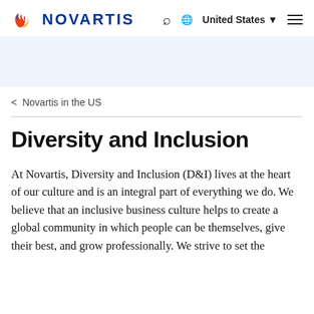Novartis logo | United States navigation bar
[Figure (illustration): Decorative banner with repeating blue molecular/Y-shaped pattern on light blue background]
< Novartis in the US
Diversity and Inclusion
At Novartis, Diversity and Inclusion (D&I) lives at the heart of our culture and is an integral part of everything we do. We believe that an inclusive business culture helps to create a global community in which people can be themselves, give their best, and grow professionally. We strive to set the